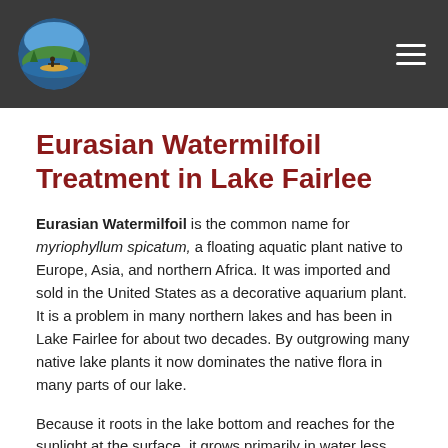[Figure (logo): Circular logo with lake/water and canoe scene in blue and green tones]
Eurasian Watermilfoil Treatment in Lake Fairlee
Eurasian Watermilfoil is the common name for myriophyllum spicatum, a floating aquatic plant native to Europe, Asia, and northern Africa. It was imported and sold in the United States as a decorative aquarium plant. It is a problem in many northern lakes and has been in Lake Fairlee for about two decades. By outgrowing many native lake plants it now dominates the native flora in many parts of our lake.
Because it roots in the lake bottom and reaches for the sunlight at the surface, it grows primarily in water less than 15 feet deep. Although it can propagate via flowers